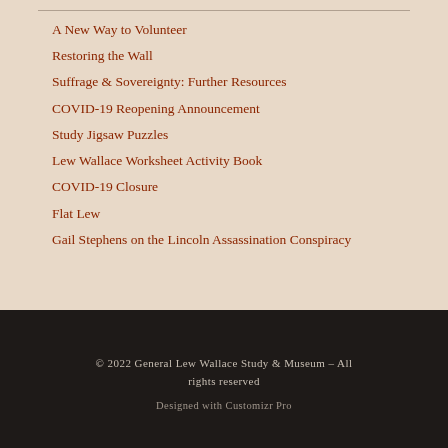A New Way to Volunteer
Restoring the Wall
Suffrage & Sovereignty: Further Resources
COVID-19 Reopening Announcement
Study Jigsaw Puzzles
Lew Wallace Worksheet Activity Book
COVID-19 Closure
Flat Lew
Gail Stephens on the Lincoln Assassination Conspiracy
© 2022 General Lew Wallace Study & Museum – All rights reserved
Designed with Customizr Pro